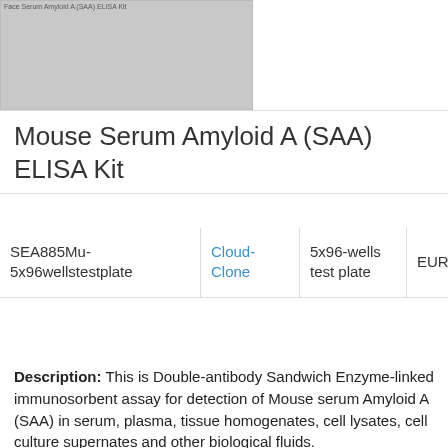[Figure (photo): Product image placeholder for Mouse Serum Amyloid A (SAA) ELISA Kit with label text 'Face Serum Amyloid A (SAA) ELISA Kit']
Mouse Serum Amyloid A (SAA) ELISA Kit
| SKU | Brand | Size | Price |
| --- | --- | --- | --- |
| SEA885Mu-5x96wellstestplate | Cloud-Clone | 5x96-wells test plate | EUR 2395.32 |
Description: This is Double-antibody Sandwich Enzyme-linked immunosorbent assay for detection of Mouse serum Amyloid A (SAA) in serum, plasma, tissue homogenates, cell lysates, cell culture supernates and other biological fluids.